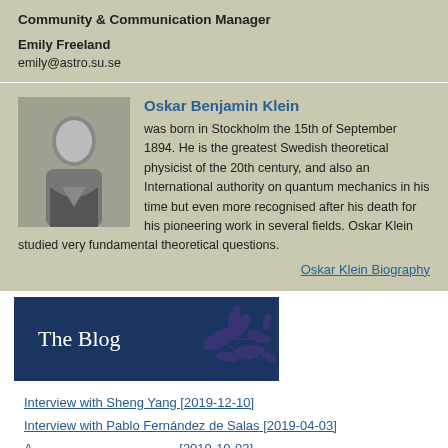Community & Communication Manager
Emily Freeland
emily@astro.su.se
Oskar Benjamin Klein was born in Stockholm the 15th of September 1894. He is the greatest Swedish theoretical physicist of the 20th century, and also an International authority on quantum mechanics in his time but even more recognised after his death for his pioneering work in several fields. Oskar Klein studied very fundamental theoretical questions.
Oskar Klein Biography
[Figure (illustration): Blog banner with dark navy background, text 'The Blog' in white serif font, decorative leaf/olive branch SVG pattern on the right side]
Interview with Sheng Yang [2019-12-10]
Interview with Pablo Fernández de Salas [2019-04-03]